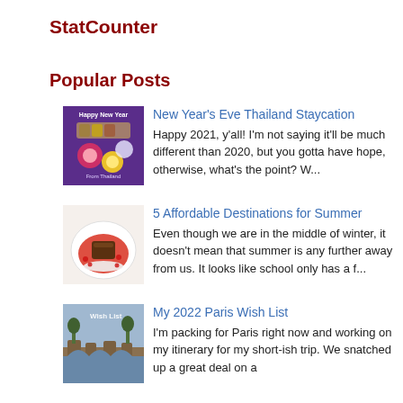StatCounter
Popular Posts
New Year's Eve Thailand Staycation
Happy 2021, y'all! I'm not saying it'll be much different than 2020, but you gotta have hope, otherwise, what's the point? W...
5 Affordable Destinations for Summer
Even though we are in the middle of winter, it doesn't mean that summer is any further away from us. It looks like school only has a f...
My 2022 Paris Wish List
I'm packing for Paris right now and working on my itinerary for my short-ish trip. We snatched up a great deal on a